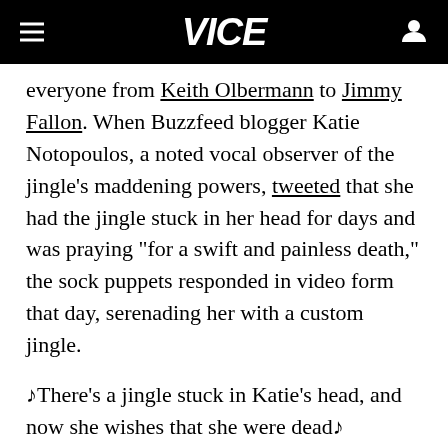VICE
everyone from Keith Olbermann to Jimmy Fallon. When Buzzfeed blogger Katie Notopoulos, a noted vocal observer of the jingle’s maddening powers, tweeted that she had the jingle stuck in her head for days and was praying “for a swift and painless death,” the sock puppets responded in video form that day, serenading her with a custom jingle.
♫There’s a jingle stuck in Katie’s head, and now she wishes that she were dead♫
Even Notopoulos, a person who once literally